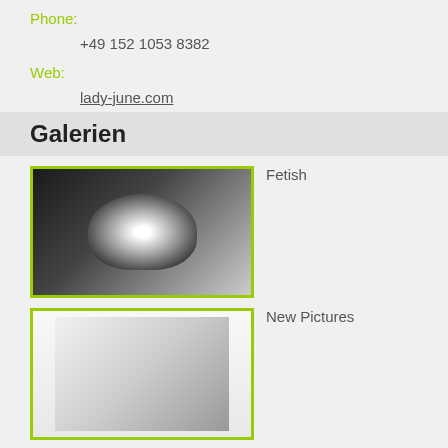Phone:
+49 152 1053 8382
Web:
lady-june.com
Galerien
[Figure (photo): Woman in black latex catsuit posing in a bathtub with industrial background]
Fetish
[Figure (photo): Woman in white top and dark skirt with high heels posing with a whip]
New Pictures